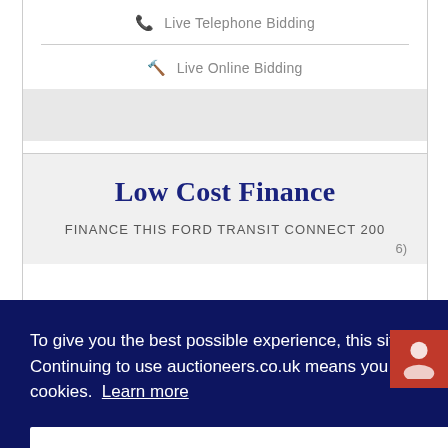Live Telephone Bidding
Live Online Bidding
Low Cost Finance
FINANCE THIS FORD TRANSIT CONNECT 200
To give you the best possible experience, this site uses cookies. Continuing to use auctioneers.co.uk means you agree to our use of cookies. Learn more
Got it!